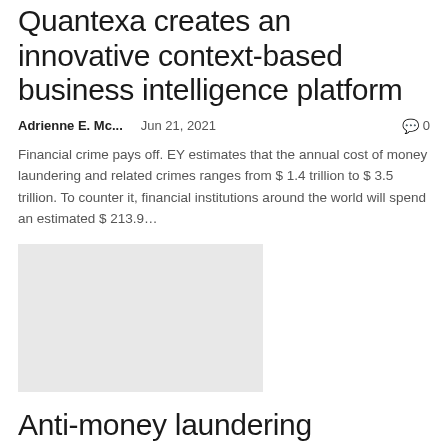Quantexa creates an innovative context-based business intelligence platform
Adrienne E. Mc...    Jun 21, 2021    🗨 0
Financial crime pays off. EY estimates that the annual cost of money laundering and related crimes ranges from $ 1.4 trillion to $ 3.5 trillion. To counter it, financial institutions around the world will spend an estimated $ 213.9…
[Figure (photo): Gray placeholder image block]
Anti-money laundering